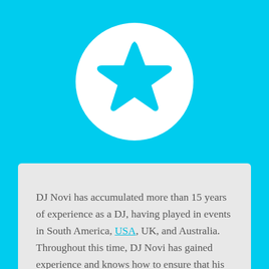[Figure (illustration): White circle on cyan background containing a cyan star icon]
DJ Novi has accumulated more than 15 years of experience as a DJ, having played in events in South America, USA, UK, and Australia. Throughout this time, DJ Novi has gained experience and knows how to ensure that his team of top DJs play the right music for everyone